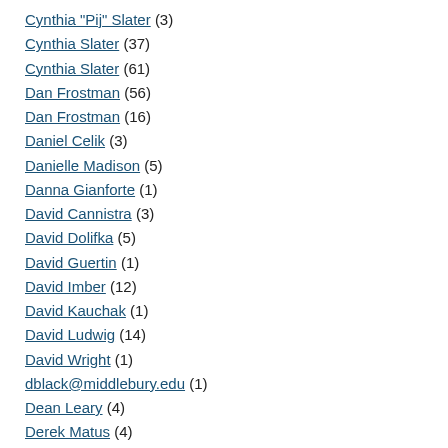Cynthia "Pij" Slater (3)
Cynthia Slater (37)
Cynthia Slater (61)
Dan Frostman (56)
Dan Frostman (16)
Daniel Celik (3)
Danielle Madison (5)
Danna Gianforte (1)
David Cannistra (3)
David Dolifka (5)
David Guertin (1)
David Imber (12)
David Kauchak (1)
David Ludwig (14)
David Wright (1)
dblack@middlebury.edu (1)
Dean Leary (4)
Derek Matus (4)
Diane Munroe (1)